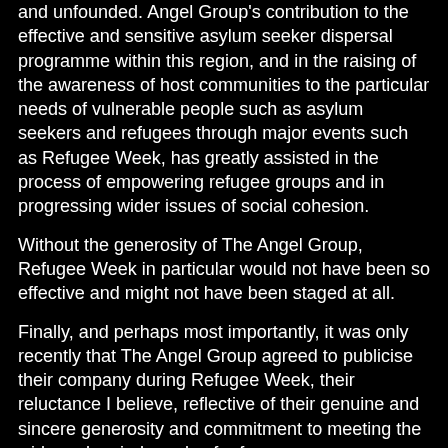and unfounded. Angel Group's contribution to the effective and sensitive asylum seeker dispersal programme within this region, and in the raising of the awareness of host communities to the particular needs of vulnerable people such as asylum seekers and refugees through major events such as Refugee Week, has greatly assisted in the process of empowering refugee groups and in progressing wider issues of social cohesion.
Without the generosity of The Angel Group, Refugee Week in particular would not have been so effective and might not have been staged at all.
Finally, and perhaps most importantly, it was only recently that The Angel Group agreed to publicise their company during Refugee Week, their reluctance I believe, reflective of their genuine and sincere generosity and commitment to meeting the wide and varied needs of refugees.
Yours sincerely,
David Barnes,
Regional Director,
West Midlands Consortium for Asylum and Refugee Support